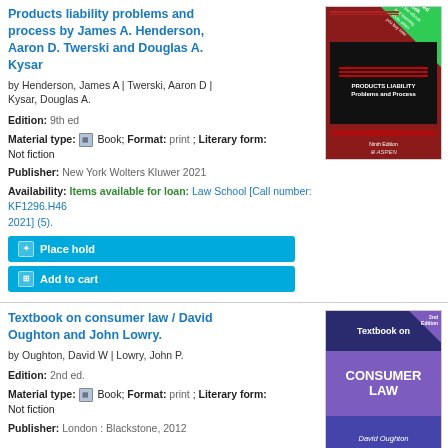Products liability problems and process by James A. Henderson, Aaron D. Twerski and Douglas A. Kysar
by Henderson, James A | Twerski, Aaron D | Kysar, Douglas A.
Edition: 9th ed
Material type: Book; Format: print ; Literary form: Not fiction
Publisher: New York Wolters Kluwer 2021
Availability: Items available for loan: Law School [Call number: KF1296.H46 2021] (5).
[Figure (illustration): Book cover: Products Liability Problems and Process, red cover with black panel, Aspen publisher, 9th edition]
Place hold
Add to cart
Textbook on consumer law / David Oughton and John Lowry.
by Oughton, David W | Lowry, John P.
Edition: 2nd ed.
Material type: Book; Format: print ; Literary form: Not fiction
Publisher: London : Blackstone, 2012
[Figure (illustration): Book cover: Textbook on Consumer Law by David Oughton and John Lowry, 2nd edition, dark blue and purple cover]